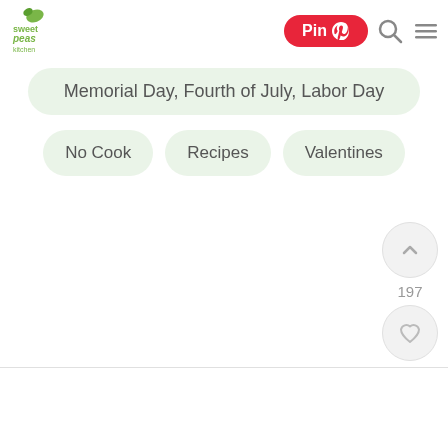[Figure (logo): Sweet Peas Kitchen logo - green leaf icon with cursive text]
[Figure (infographic): Pinterest Pin button (red pill shape) with Pin text and Pinterest logo, search icon, and hamburger menu icon in header]
Memorial Day, Fourth of July, Labor Day
No Cook
Recipes
Valentines
[Figure (infographic): Upvote/chevron up button circle, count 197, heart/like button circle, green search button circle - floating action buttons]